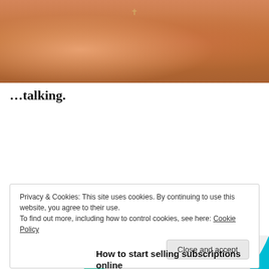[Figure (photo): Close-up photo of a person's torso in a bikini top with a cross necklace]
...talking.
[Figure (infographic): Advertisement banner with green and blue shapes reading 'How to start selling subscriptions online']
Privacy & Cookies: This site uses cookies. By continuing to use this website, you agree to their use.
To find out more, including how to control cookies, see here: Cookie Policy
Close and accept